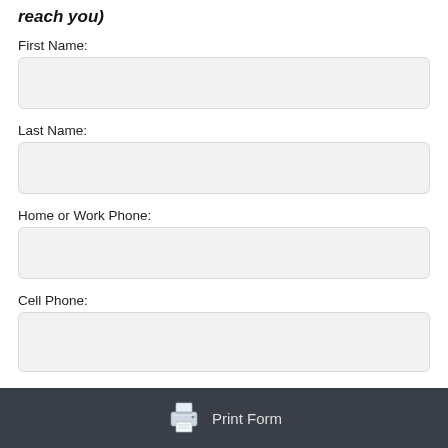reach you)
First Name:
Last Name:
Home or Work Phone:
Cell Phone:
Print Form